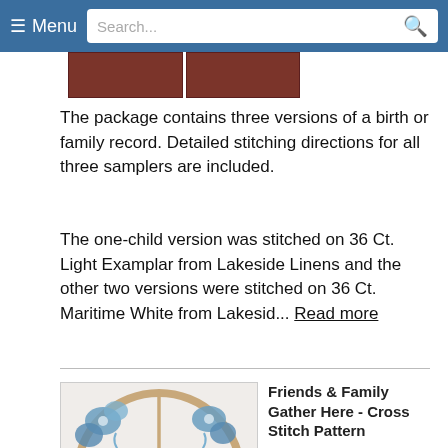≡ Menu  Search...
[Figure (photo): Partial view of cross stitch pattern product image at top]
The package contains three versions of a birth or family record. Detailed stitching directions for all three samplers are included.
The one-child version was stitched on 36 Ct. Light Examplar from Lakeside Linens and the other two versions were stitched on 36 Ct. Maritime White from Lakesid... Read more
[Figure (photo): Cross stitch pattern product image: circular design with blue flowers and text 'friends and family Gather HERE' in decorative script]
Friends & Family Gather Here - Cross Stitch Pattern
by Imaginating
$6.00 Sale $4.79
Add to Cart
Add to Wish List
Model stitched on... 14 Ct. White Aid...